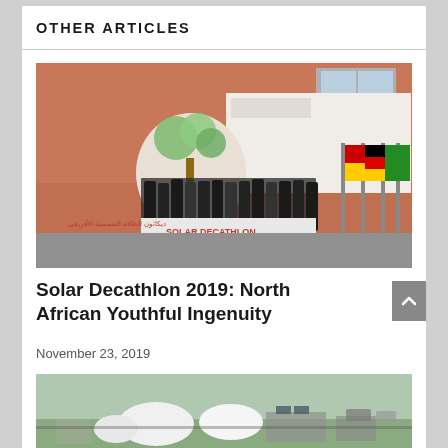OTHER ARTICLES
[Figure (photo): Group photo of participants at Solar Decathlon Africa 2019 event, standing in front of a banner reading 'Solar Decathlon Africa 2019', with colorful flags visible on the right side.]
Solar Decathlon 2019: North African Youthful Ingenuity
November 23, 2019
[Figure (photo): Aerial view of an outdoor event site with white tent structures and various equipment.]